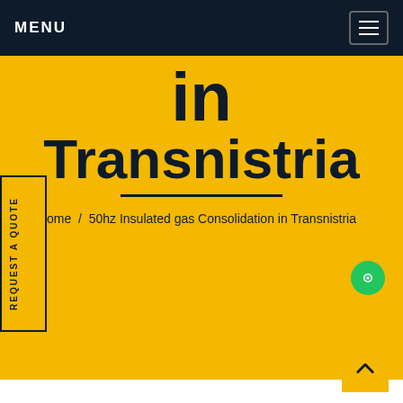MENU
in Transnistria
Home / 50hz Insulated gas Consolidation in Transnistria